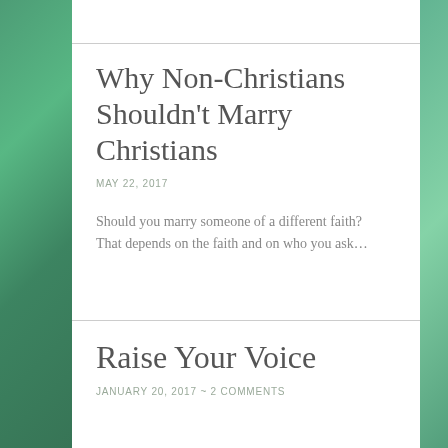Why Non-Christians Shouldn't Marry Christians
MAY 22, 2017
Should you marry someone of a different faith? That depends on the faith and on who you ask…
Raise Your Voice
JANUARY 20, 2017  ~  2 COMMENTS